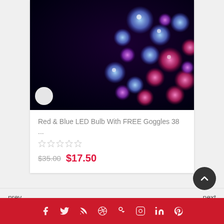[Figure (photo): Close-up photo of red and blue LED lights/bulbs glowing against a dark background, showing multiple round colorful crystal or glass bead-like bulbs]
Red & Blue LED Bulb With FREE Goggles 38 ...
☆☆☆☆☆
$35.00  $17.50
prev
next
[Figure (infographic): Social media icons row in red footer bar: facebook, twitter, rss, dribbble, google+, instagram, linkedin, pinterest]
Back to top button